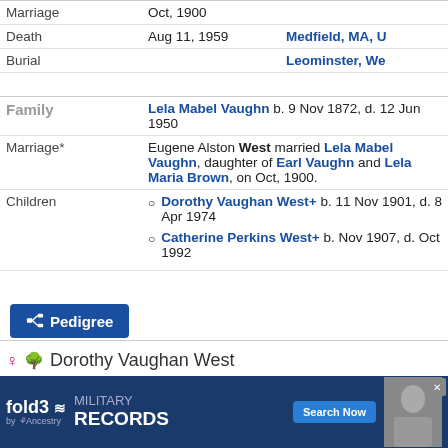| Event | Date | Place |
| --- | --- | --- |
| Marriage | Oct, 1900 |  |
| Death | Aug 11, 1959 | Medfield, MA, U… |
| Burial |  | Leominster, We… |
| Field | Value |
| --- | --- |
| Family | Lela Mabel Vaughn b. 9 Nov 1872, d. 12 Jun 1950 |
| Marriage* | Eugene Alston West married Lela Mabel Vaughn, daughter of Earl Vaughn and Lela Maria Brown, on Oct, 1900. |
| Children | Dorothy Vaughan West+ b. 11 Nov 1901, d. 8 Apr 1974
Catherine Perkins West+ b. Nov 1907, d. Oct 1992 |
Pedigree
Dorothy Vaughan West
F, #54465, b. 11 November 1901, d. 8 April 1974
| Field | Value |
| --- | --- |
| Father* | Eugene Alston West b. 2 Aug 1876, d. … |
| Mother… | … 72, d. … |
[Figure (infographic): fold3 by Ancestry advertisement banner for Military Records with Search Now button and soldier photo]